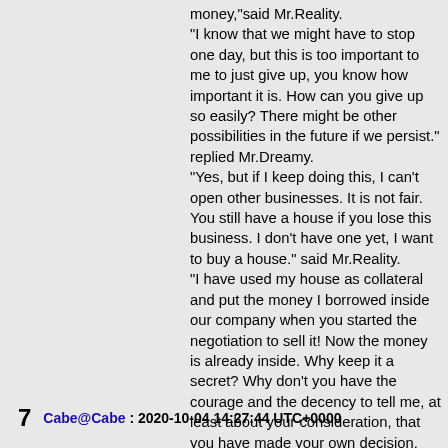money,"said Mr.Reality. "I know that we might have to stop one day, but this is too important to me to just give up, you know how important it is. How can you give up so easily? There might be other possibilities in the future if we persist." replied Mr.Dreamy. "Yes, but if I keep doing this, I can't open other businesses. It is not fair. You still have a house if you lose this business. I don't have one yet, I want to buy a house." said Mr.Reality. "I have used my house as collateral and put the money I borrowed inside our company when you started the negotiation to sell it! Now the money is already inside. Why keep it a secret? Why don't you have the courage and the decency to tell me, at least about your consideration, that you have made your own decision, that we will end this business partnership this soon? We worked together, and we decided on many important things together, and you left me out for the most important decision about this business? What am I to you, a disposable paper plate? What kind of person are you?" said Mr.Dreamy.
Cabe@Cabe : 2020-10-04 14:27:44 UTC+0000